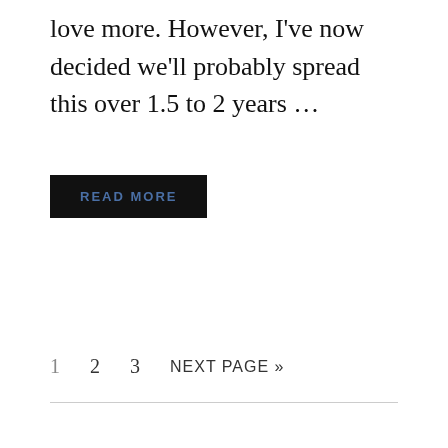love more. However, I've now decided we'll probably spread this over 1.5 to 2 years …
READ MORE
1   2   3   NEXT PAGE »
[Figure (infographic): Social media icon buttons: email, Facebook, Instagram, Pinterest, Twitter, YouTube — grey rounded square buttons with white icons]